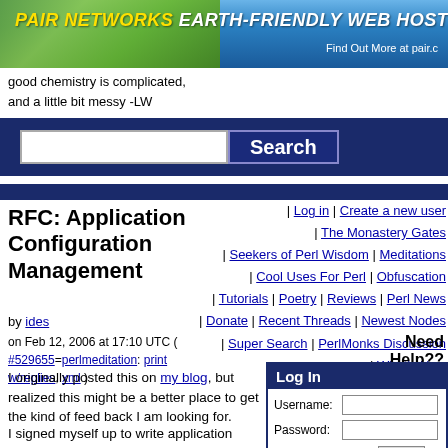[Figure (illustration): Pair Networks Earth-Friendly Web Hosting banner with green leaf background]
good chemistry is complicated,
and a little bit messy -LW
[Figure (other): Search bar with text input and Search button on dark blue background]
| Log in | Create a new user | The Monastery Gates | Seekers of Perl Wisdom | Meditations | Cool Uses For Perl | Obfuscation | Tutorials | Poetry | Reviews | Perl News | Donate | Recent Threads | Newest Nodes | Super Search | PerlMonks Discussion | What's New
RFC: Application Configuration Management
by ides
on Feb 12, 2006 at 17:10 UTC ( #529655=perlmeditation: print w/replies, xml )
Need Help??
I originally posted this on my blog, but realized this might be a better place to get the kind of feed back I am looking for.
I signed myself up to write application configuration management into the soon to
| Log In |
| --- |
| Username: |  |
| Password: |  |
| remember me | Login |